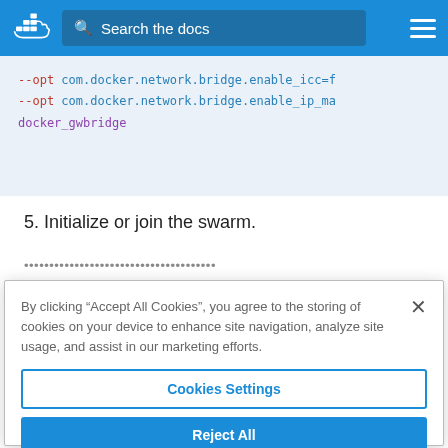[Figure (screenshot): Docker docs navigation bar with logo, search box, and hamburger menu on blue background]
--opt com.docker.network.bridge.enable_icc=f
--opt com.docker.network.bridge.enable_ip_ma
docker_gwbridge
5. Initialize or join the swarm.
By clicking “Accept All Cookies”, you agree to the storing of cookies on your device to enhance site navigation, analyze site usage, and assist in our marketing efforts.
Cookies Settings
Reject All
Accept All Cookies